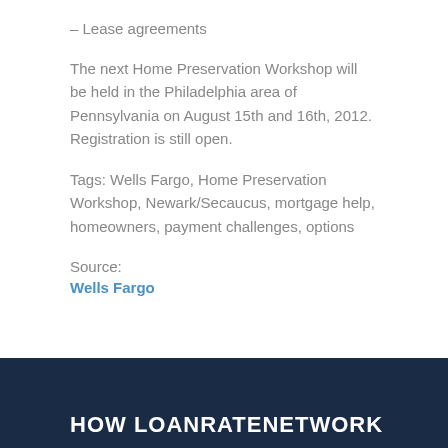– Lease agreements
The next Home Preservation Workshop will be held in the Philadelphia area of Pennsylvania on August 15th and 16th, 2012. Registration is still open.
Tags: Wells Fargo, Home Preservation Workshop, Newark/Secaucus, mortgage help, homeowners, payment challenges, options
Source:
Wells Fargo
HOW LOANRATENETWORK